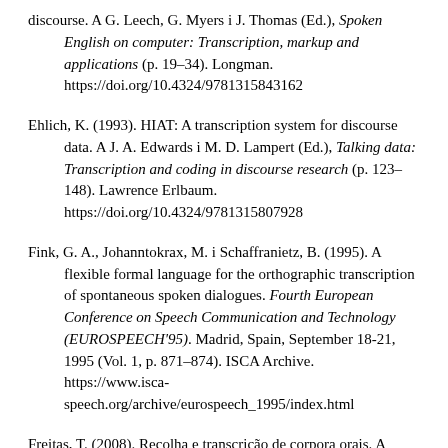discourse. A G. Leech, G. Myers i J. Thomas (Ed.), Spoken English on computer: Transcription, markup and applications (p. 19–34). Longman. https://doi.org/10.4324/9781315843162
Ehlich, K. (1993). HIAT: A transcription system for discourse data. A J. A. Edwards i M. D. Lampert (Ed.), Talking data: Transcription and coding in discourse research (p. 123–148). Lawrence Erlbaum. https://doi.org/10.4324/9781315807928
Fink, G. A., Johanntokrax, M. i Schaffranietz, B. (1995). A flexible formal language for the orthographic transcription of spontaneous spoken dialogues. Fourth European Conference on Speech Communication and Technology (EUROSPEECH'95). Madrid, Spain, September 18-21, 1995 (Vol. 1, p. 871–874). ISCA Archive. https://www.isca-speech.org/archive/eurospeech_1995/index.html
Freitas, T. (2008). Recolha e transcrição de corpora orais. A